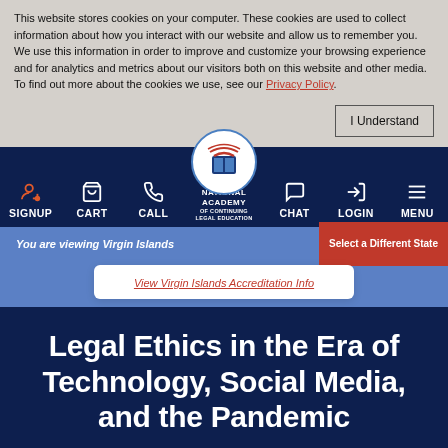This website stores cookies on your computer. These cookies are used to collect information about how you interact with our website and allow us to remember you. We use this information in order to improve and customize your browsing experience and for analytics and metrics about our visitors both on this website and other media. To find out more about the cookies we use, see our Privacy Policy.
[Figure (screenshot): Navigation bar for National Academy of Continuing Legal Education with icons for SIGNUP, CART, CALL, logo, CHAT, LOGIN, MENU]
You are viewing Virgin Islands
Select a Different State
View Virgin Islands Accreditation Info
Legal Ethics in the Era of Technology, Social Media, and the Pandemic